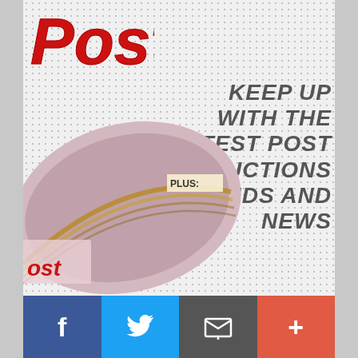[Figure (logo): POST magazine logo in red italic bold lettering]
KEEP UP WITH THE LATEST POST PRODUCTIONS TRENDS AND NEWS
[Figure (photo): Photo of POST magazine cover partially visible at bottom of image]
[Figure (infographic): Social media share buttons bar: Facebook (blue), Twitter (light blue), Email (dark gray), Plus/More (red-orange)]